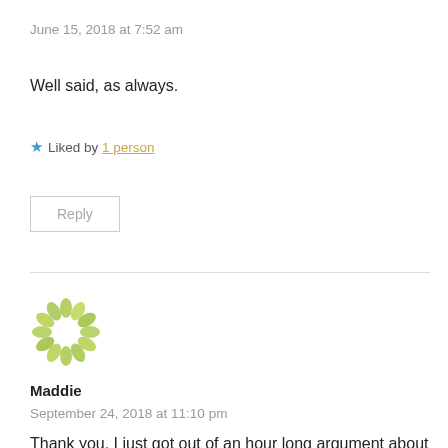June 15, 2018 at 7:52 am
Well said, as always.
★ Liked by 1 person
Reply
[Figure (illustration): Circular decorative avatar icon made of green leaf/petal shapes arranged in a ring, on white background]
Maddie
September 24, 2018 at 11:10 pm
Thank you. I just got out of an hour long argument about this and I was feeling like I'm not valid and my identity is just